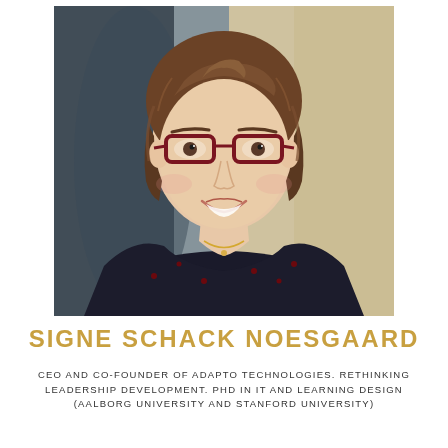[Figure (photo): Professional headshot of Signe Schack Noesgaard, a woman with brown curly hair pulled back, wearing dark-rimmed red glasses and a dark floral blouse with a gold necklace, smiling at camera against a blurred office background.]
SIGNE SCHACK NOESGAARD
CEO AND CO-FOUNDER OF ADAPTO TECHNOLOGIES. RETHINKING LEADERSHIP DEVELOPMENT. PHD IN IT AND LEARNING DESIGN (AALBORG UNIVERSITY AND STANFORD UNIVERSITY)